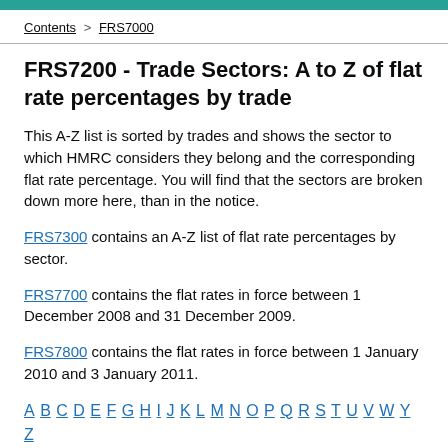Contents > FRS7000
FRS7200 - Trade Sectors: A to Z of flat rate percentages by trade
This A-Z list is sorted by trades and shows the sector to which HMRC considers they belong and the corresponding flat rate percentage. You will find that the sectors are broken down more here, than in the notice.
FRS7300 contains an A-Z list of flat rate percentages by sector.
FRS7700 contains the flat rates in force between 1 December 2008 and 31 December 2009.
FRS7800 contains the flat rates in force between 1 January 2010 and 3 January 2011.
A B C D E F G H I J K L M N O P Q R S T U V W Y Z
A